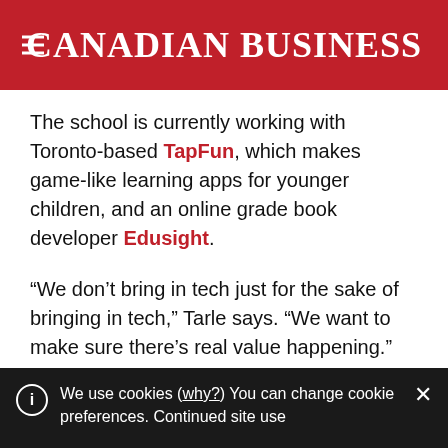CANADIAN BUSINESS
The school is currently working with Toronto-based TapFun, which makes game-like learning apps for younger children, and an online grade book developer Edusight.
“We don’t bring in tech just for the sake of bringing in tech,” Tarle says. “We want to make sure there’s real value happening.”
More often than not, it’s individual teachers who are
We use cookies (why?) You can change cookie preferences. Continued site use